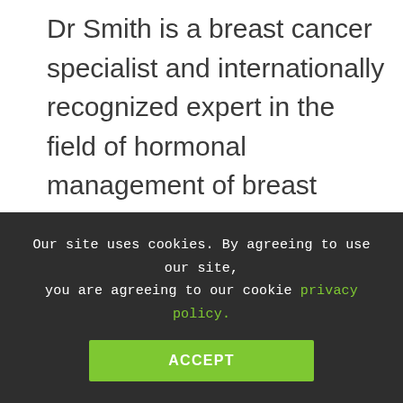Dr Smith is a breast cancer specialist and internationally recognized expert in the field of hormonal management of breast disease.  His early research was seminal in explaining how conventional hormone replacement therapy increased the risk of developing breast cancer.  Dr Smith was the founder of Australia's first public and private multidisciplinary breast cancer clinics, a model that is now accepted as the only way to access breast disease. He is the Medical Director of We[llness clinic] a state-of-the-art women's health specialist clinic
Our site uses cookies. By agreeing to use our site, you are agreeing to our cookie privacy policy.